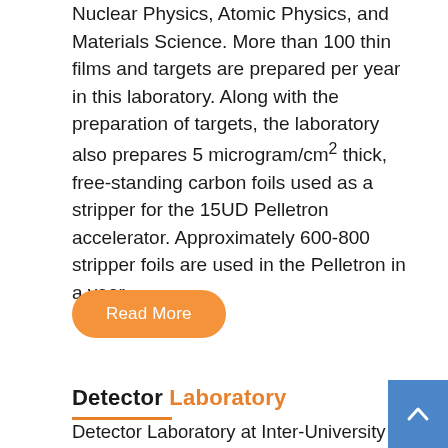Nuclear Physics, Atomic Physics, and Materials Science. More than 100 thin films and targets are prepared per year in this laboratory. Along with the preparation of targets, the laboratory also prepares 5 microgram/cm 2 thick, free-standing carbon foils used as a stripper for the 15UD Pelletron accelerator. Approximately 600-800 stripper foils are used in the Pelletron in a year...
Read More
Detector Laboratory
Detector Laboratory at Inter-University Accelerator Centre provides infrastructure & support for the development of radiation detectors for various